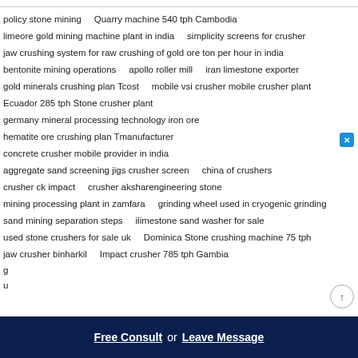policy stone mining    Quarry machine 540 tph Cambodia
limeore gold mining machine plant in india    simplicity screens for crusher
jaw crushing system for raw crushing of gold ore ton per hour in india
bentonite mining operations    apollo roller mill    iran limestone exporter
gold minerals crushing plan Tcost    mobile vsi crusher mobile crusher plant
Ecuador 285 tph Stone crusher plant
germany mineral processing technology iron ore
hematite ore crushing plan Tmanufacturer
concrete crusher mobile provider in india
aggregate sand screening jigs crusher screen    china of crushers
crusher ck impact    crusher aksharengineering stone
mining processing plant in zamfara    grinding wheel used in cryogenic grinding
sand mining separation steps    ilimestone sand washer for sale
used stone crushers for sale uk    Dominica Stone crushing machine 75 tph
jaw crusher binharkil    Impact crusher 785 tph Gambia
g...
u...
Free Consult  or  Leave Message